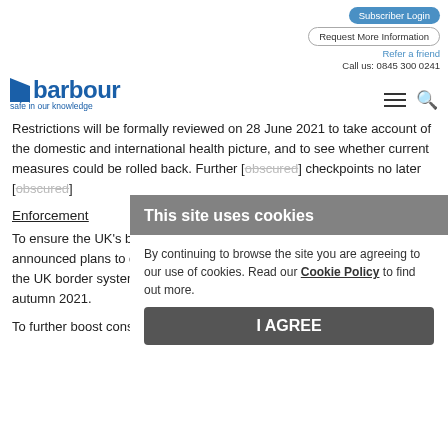Subscriber Login | Request More Information | Refer a friend | Call us: 0845 300 0241
[Figure (logo): Barbour logo with tagline 'safe in our knowledge']
Restrictions will be formally reviewed on 28 June 2021 to take account of the domestic and international health picture, and to see whether current measures could be rolled back. Further [text obscured] checkpoints no later [text obscured]
Enforcement
To ensure the UK's b[order is secure] when passenger flow[s increase, the government] announced plans to digitise the passenger locator form, integrating it into the UK border system and enabling checks to take place at e-gates by autumn 2021.
To further boost consumer confidence, the Civil Aviation
This site uses cookies
By continuing to browse the site you are agreeing to our use of cookies. Read our Cookie Policy to find out more.
I AGREE